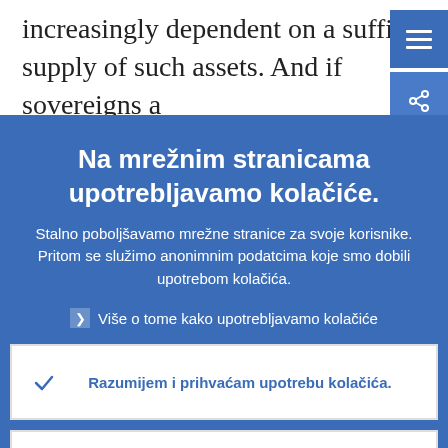increasingly dependent on a sufficient supply of such assets. And if sovereigns are not supplying safe assets, then someone else has to
Na mrežnim stranicama upotrebljavamo kolačiće.
Stalno poboljšavamo mrežne stranice za svoje korisnike. Pritom se služimo anonimnim podatcima koje smo dobili upotrebom kolačića.
Više o tome kako upotrebljavamo kolačiće
Razumijem i prihvaćam upotrebu kolačića.
Ne prihvaćam upotrebu kolačića.